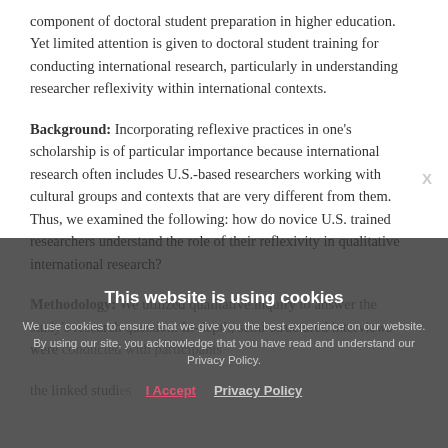component of doctoral student preparation in higher education. Yet limited attention is given to doctoral student training for conducting international research, particularly in understanding researcher reflexivity within international contexts.
Background: Incorporating reflexive practices in one's scholarship is of particular importance because international research often includes U.S.-based researchers working with cultural groups and contexts that are very different from them. Thus, we examined the following: how do novice U.S. trained researchers understand the role of their reflexivity in qualitative international research?
Methodology: We utilized qualitative inquiry to answer the study's research question. In-depth, semi-structured interviews were conducted with participants ... the linked studies ...
Contribution: This study provides insight on how U.S. doctoral students reflect on their researcher reflexivity...
This website is using cookies
We use cookies to ensure that we give you the best experience on our website. By using our site, you acknowledge that you have read and understand our Privacy Policy.